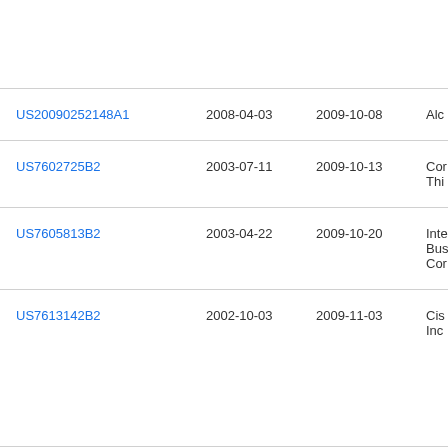| Patent Number | Filed | Published | Assignee |
| --- | --- | --- | --- |
| US20090252148A1 | 2008-04-03 | 2009-10-08 | Alc… |
| US7602725B2 | 2003-07-11 | 2009-10-13 | Cor… Thi… |
| US7605813B2 | 2003-04-22 | 2009-10-20 | Inte… Bus… Cor… |
| US7613142B2 | 2002-10-03 | 2009-11-03 | Cis… Inc… |
| US7613118B2 | 2005-05-19 | 2009-11-03 | Cis… Inc… |